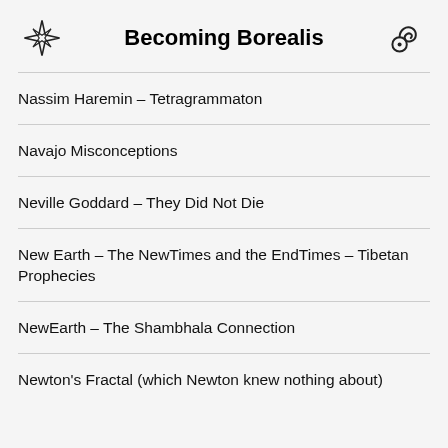Becoming Borealis
Nassim Haremin – Tetragrammaton
Navajo Misconceptions
Neville Goddard – They Did Not Die
New Earth – The NewTimes and the EndTimes – Tibetan Prophecies
NewEarth – The Shambhala Connection
Newton's Fractal (which Newton knew nothing about)